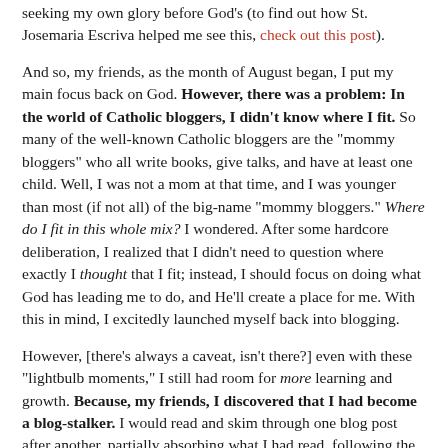seeking my own glory before God's (to find out how St. Josemaria Escriva helped me see this, check out this post).
And so, my friends, as the month of August began, I put my main focus back on God. However, there was a problem: In the world of Catholic bloggers, I didn't know where I fit. So many of the well-known Catholic bloggers are the "mommy bloggers" who all write books, give talks, and have at least one child. Well, I was not a mom at that time, and I was younger than most (if not all) of the big-name "mommy bloggers." Where do I fit in this whole mix? I wondered. After some hardcore deliberation, I realized that I didn't need to question where exactly I thought that I fit; instead, I should focus on doing what God has leading me to do, and He'll create a place for me. With this in mind, I excitedly launched myself back into blogging.
However, [there's always a caveat, isn't there?] even with these "lightbulb moments," I still had room for more learning and growth. Because, my friends, I discovered that I had become a blog-stalker. I would read and skim through one blog post after another, partially absorbing what I had read, following the lives and adventures of different people. This "blog-stalking" isn't necessarily bad, but there are some serious drawbacks to it.